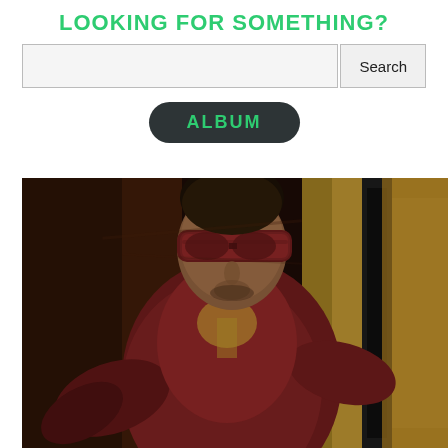LOOKING FOR SOMETHING?
Search
ALBUM
[Figure (photo): A person wearing a dark maroon/purple blindfold and matching outfit, standing near a yellow/gold car door, in a blurred motion photograph with warm dark tones.]